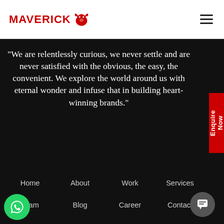MAVERICK [bull logo] [hamburger menu]
"We are relentlessly curious, we never settle and are never satisfied with the obvious, the easy, the convenient. We explore the world around us with eternal wonder and infuse that in building heart-winning brands."
Enquire Now
Home
About
Work
Services
Team
Blog
Career
Contact